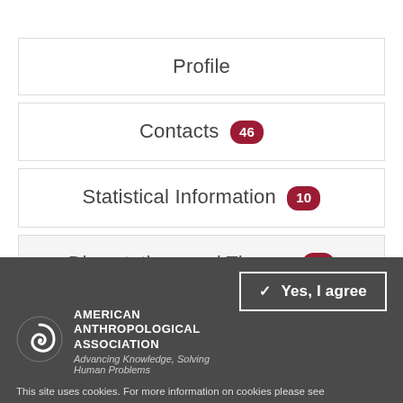Profile
Contacts 46
Statistical Information 10
Dissertations and Theses 33
[Figure (logo): American Anthropological Association spiral logo]
AMERICAN ANTHROPOLOGICAL ASSOCIATION
Advancing Knowledge, Solving Human Problems
Yes, I agree
This site uses cookies. For more information on cookies please see Privacy.aspx